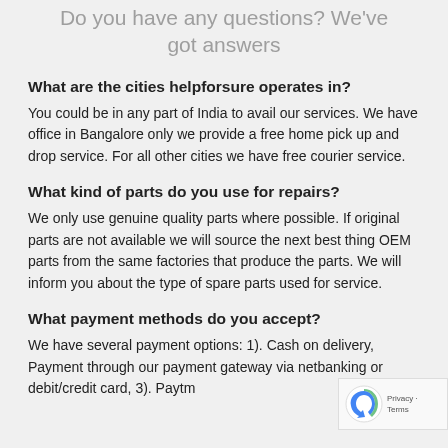Do you have any questions? We've got answers
What are the cities helpforsure operates in?
You could be in any part of India to avail our services. We have office in Bangalore only we provide a free home pick up and drop service. For all other cities we have free courier service.
What kind of parts do you use for repairs?
We only use genuine quality parts where possible. If original parts are not available we will source the next best thing OEM parts from the same factories that produce the parts. We will inform you about the type of spare parts used for service.
What payment methods do you accept?
We have several payment options: 1). Cash on delivery, Payment through our payment gateway via netbanking or debit/credit card, 3). Paytm